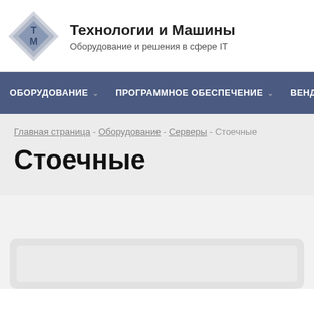Технологии и Машины — Оборудование и решения в сфере IT
ОБОРУДОВАНИЕ  ПРОГРАММНОЕ ОБЕСПЕЧЕНИЕ  ВЕНДОР
Главная страница - Оборудование - Серверы - Стоечные
Стоечные